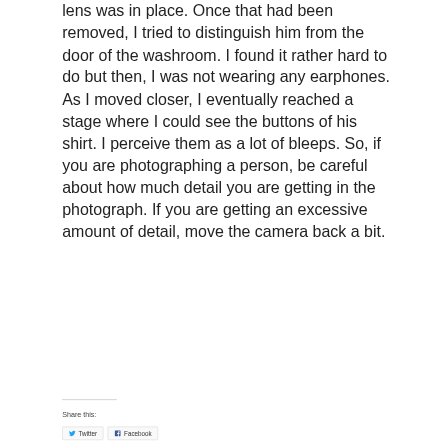lens was in place. Once that had been removed, I tried to distinguish him from the door of the washroom. I found it rather hard to do but then, I was not wearing any earphones. As I moved closer, I eventually reached a stage where I could see the buttons of his shirt. I perceive them as a lot of bleeps. So, if you are photographing a person, be careful about how much detail you are getting in the photograph. If you are getting an excessive amount of detail, move the camera back a bit.
Share this: